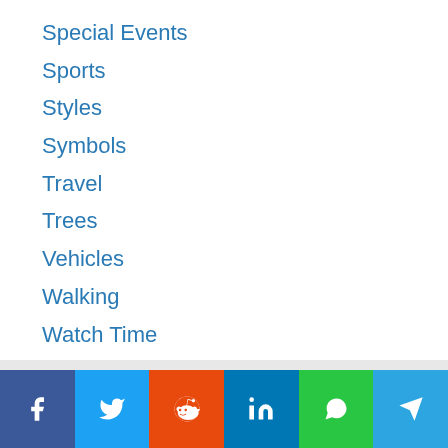Special Events
Sports
Styles
Symbols
Travel
Trees
Vehicles
Walking
Watch Time
Water
Weather
[Figure (other): Social sharing bar with Facebook, Twitter, Reddit, LinkedIn, WhatsApp, and Telegram icons]